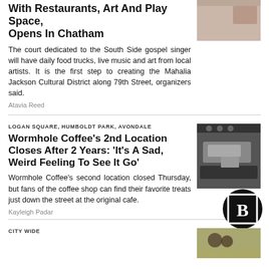With Restaurants, Art And Play Space, Opens In Chatham
The court dedicated to the South Side gospel singer will have daily food trucks, live music and art from local artists. It is the first step to creating the Mahalia Jackson Cultural District along 79th Street, organizers said.
Atavia Reed
LOGAN SQUARE, HUMBOLDT PARK, AVONDALE
Wormhole Coffee's 2nd Location Closes After 2 Years: 'It's A Sad, Weird Feeling To See It Go'
Wormhole Coffee's second location closed Thursday, but fans of the coffee shop can find their favorite treats just down the street at the original cafe.
Kayleigh Padar
CITY WIDE
[Figure (photo): Top article image - partial view at page top]
[Figure (photo): Interior of Wormhole Coffee second location]
[Figure (logo): Block Club Chicago logo - B in circle]
[Figure (photo): City Wide article image at bottom]